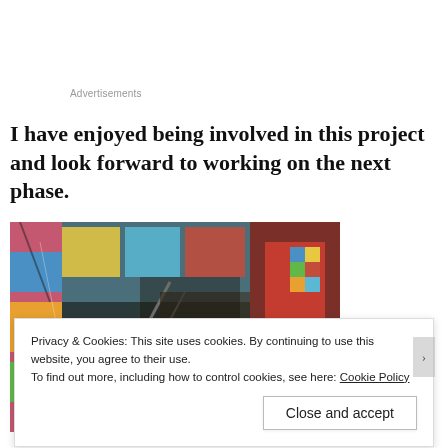Advertisements
I have enjoyed being involved in this project and look forward to working on the next phase.
[Figure (photo): Interior stairwell covered in colorful graffiti murals on walls and ceiling, with metal railings and industrial structure visible]
Privacy & Cookies: This site uses cookies. By continuing to use this website, you agree to their use.
To find out more, including how to control cookies, see here: Cookie Policy
Close and accept